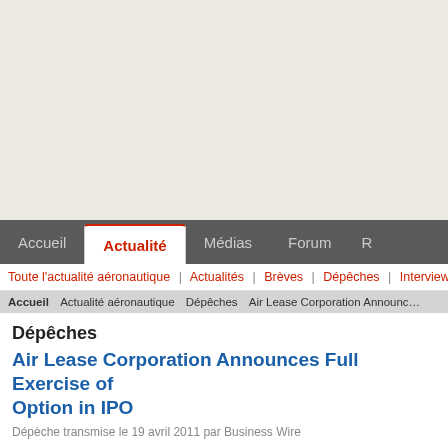Accueil | Actualité | Médias | Forum | R...
Toute l'actualité aéronautique | Actualités | Brèves | Dépêches | Interviews
Accueil > Actualité aéronautique > Dépêches > Air Lease Corporation Announc...
Dépêches
Air Lease Corporation Announces Full Exercise of Option in IPO
Dépèche transmise le 19 avril 2011 par Business Wire
LOS ANGELES--(BUSINESS WIRE)--Air Lease Corporation (NYSE: AL) today announced that the underwriters for the Company's initial public offering have exercised in full their over-allotment option to purchase an additional 4,542,450 shares of the Company's Class A Common Stock. After giving effect to the completion of the initial public offering and the exercise of the